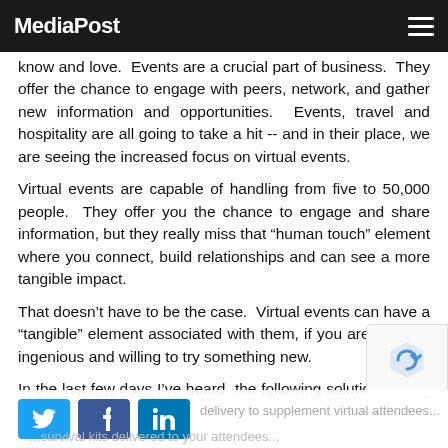MediaPost
know and love.  Events are a crucial part of business.  They offer the chance to engage with peers, network, and gather new information and opportunities.  Events, travel and hospitality are all going to take a hit -- and in their place, we are seeing the increased focus on virtual events.
Virtual events are capable of handling from five to 50,000 people.  They offer you the chance to engage and share information, but they really miss that “human touch” element where you connect, build relationships and can see a more tangible impact.
That doesn’t have to be the case.  Virtual events can have a “tangible” element associated with them, if you are a a little ingenious and willing to try something new.
In the last few days I’ve heard  the following solutions being offered:
delivery to supplement virtual attendees...
...survival kits delivered to your attendees...